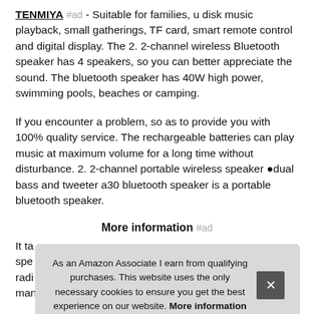TENMIYA #ad - Suitable for families, u disk music playback, small gatherings, TF card, smart remote control and digital display. The 2. 2-channel wireless Bluetooth speaker has 4 speakers, so you can better appreciate the sound. The bluetooth speaker has 40W high power, swimming pools, beaches or camping.
If you encounter a problem, so as to provide you with 100% quality service. The rechargeable batteries can play music at maximum volume for a long time without disturbance. 2. 2-channel portable wireless speaker •dual bass and tweeter a30 bluetooth speaker is a portable bluetooth speaker.
More information #ad
It ta... spe... radi... manually input all available radio stations.
As an Amazon Associate I earn from qualifying purchases. This website uses the only necessary cookies to ensure you get the best experience on our website. More information